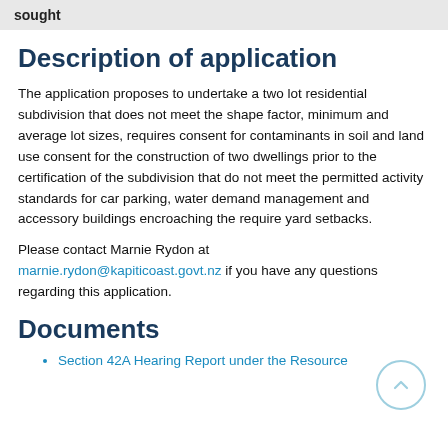sought
Description of application
The application proposes to undertake a two lot residential subdivision that does not meet the shape factor, minimum and average lot sizes, requires consent for contaminants in soil and land use consent for the construction of two dwellings prior to the certification of the subdivision that do not meet the permitted activity standards for car parking, water demand management and accessory buildings encroaching the require yard setbacks.
Please contact Marnie Rydon at marnie.rydon@kapiticoast.govt.nz if you have any questions regarding this application.
Documents
Section 42A Hearing Report under the Resource